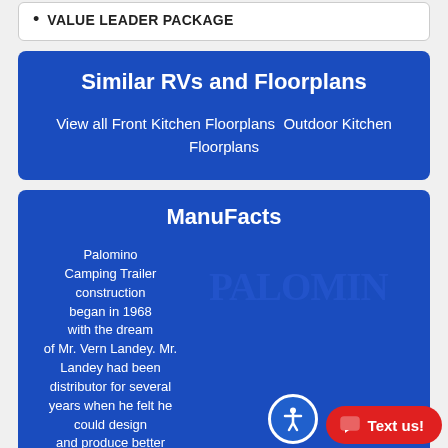VALUE LEADER PACKAGE
Similar RVs and Floorplans
View all Front Kitchen Floorplans  Outdoor Kitchen Floorplans
ManuFacts
Palomino Camping Trailer construction began in 1968 with the dream of Mr. Vern Landey. Mr. Landey had been distributor for several years when he felt he could design and produce better quality units than were currently
[Figure (logo): Palomino brand logo in large stylized text on blue background]